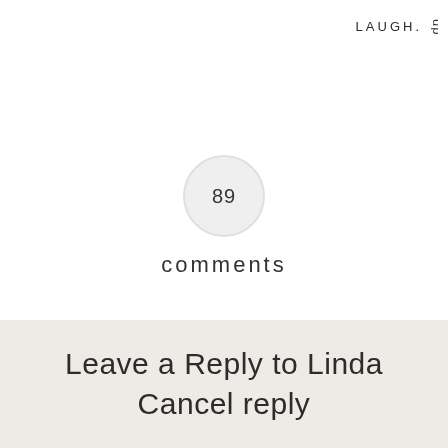LAUGH.
[Figure (other): Circle badge with number 89 inside]
comments
Leave a Reply to Linda
Cancel reply